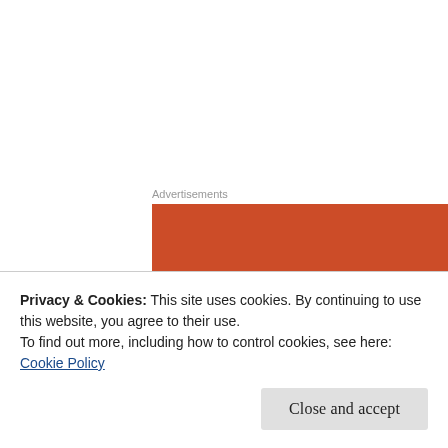Advertisements
[Figure (screenshot): Advertisement banner with orange background reading 'Search, browse, and email with more privacy. All in One Free App']
“Mommy, are we bringing my swimsuit?” Mira’s
Privacy & Cookies: This site uses cookies. By continuing to use this website, you agree to their use.
To find out more, including how to control cookies, see here: Cookie Policy
Close and accept